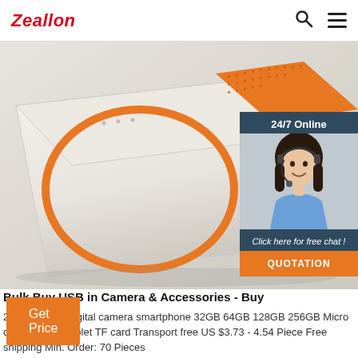Zeallon
[Figure (photo): White Bluetooth speaker with orange circular ring and orange speaker grille on top, angled product photo on light background]
[Figure (infographic): 24/7 Online chat widget showing a female customer service representative wearing a headset, with 'Click here for free chat!' text and orange QUOTATION button]
Bulk Buy USB in Camera & Accessories - Buy
2019 hot sale digital camera smartphone 32GB 64GB 128GB 256GB Micro card Class10 tablet TF card Transport free US $3.73 - 4.54 Piece Free shipping Min. Order: 70 Pieces
Get Price